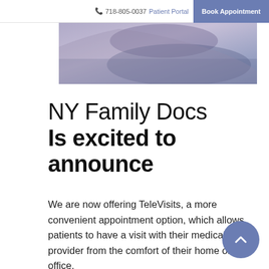718-805-0037 Patient Portal Book Appointment
[Figure (photo): Partial view of a person lying down, blurred/cropped hero image]
NY Family Docs Is excited to announce
We are now offering TeleVisits, a more convenient appointment option, which allows patients to have a visit with their medical provider from the comfort of their home or office.